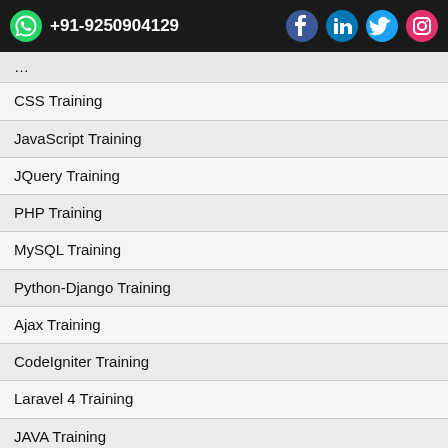+91-9250904129
CSS Training
JavaScript Training
JQuery Training
PHP Training
MySQL Training
Python-Django Training
Ajax Training
CodeIgniter Training
Laravel 4 Training
JAVA Training
Angular 4 Training
Node.js Training
Selenium Training
NativeScript with Angular 2 Training
AngularJS Training
Symfony3 Training
Pyspark Training
Flask Training